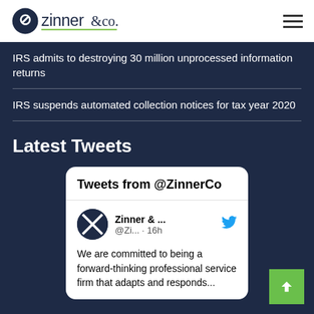Zinner & Co. logo and navigation
IRS admits to destroying 30 million unprocessed information returns
IRS suspends automated collection notices for tax year 2020
Latest Tweets
Tweets from @ZinnerCo
Zinner & ... @Zi... · 16h  We are committed to being a forward-thinking professional service firm that adapts and responds...